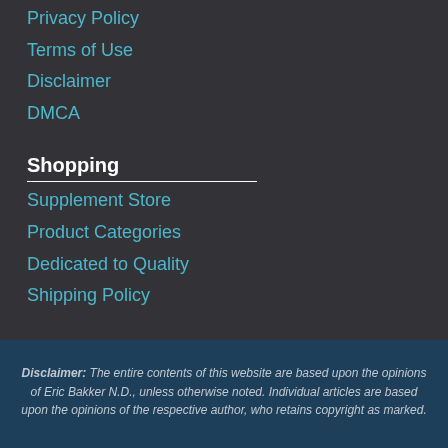Privacy Policy
Terms of Use
Disclaimer
DMCA
Shopping
Supplement Store
Product Categories
Dedicated to Quality
Shipping Policy
Disclaimer: The entire contents of this website are based upon the opinions of Eric Bakker N.D., unless otherwise noted. Individual articles are based upon the opinions of the respective author, who retains copyright as marked.